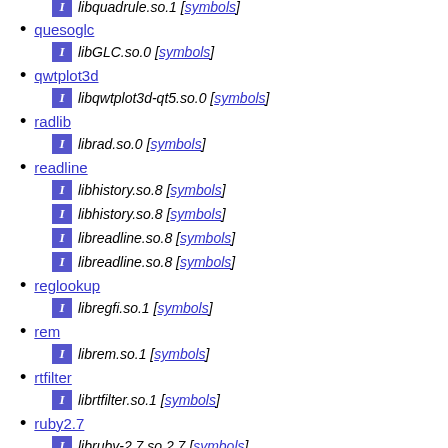quesoglc — libGLC.so.0 [symbols]
qwtplot3d — libqwtplot3d-qt5.so.0 [symbols]
radlib — librad.so.0 [symbols]
readline — libhistory.so.8 [symbols], libhistory.so.8 [symbols], libreadline.so.8 [symbols], libreadline.so.8 [symbols]
reglookup — libregfi.so.1 [symbols]
rem — librem.so.1 [symbols]
rtfilter — librtfilter.so.1 [symbols]
ruby2.7 — libruby-2.7.so.2.7 [symbols]
rxp — librxp.so.0 [symbols]
s3d — libs3d.so.2 [symbols], libs3dw.so.2 [symbols]
safe-iop